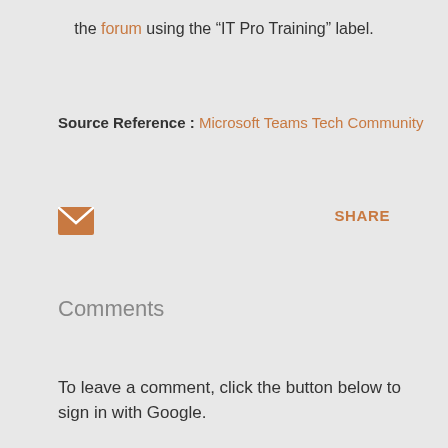the forum using the “IT Pro Training” label.
Source Reference : Microsoft Teams Tech Community
[Figure (other): Email/envelope icon in orange]
SHARE
Comments
To leave a comment, click the button below to sign in with Google.
SIGN IN WITH GOOGLE